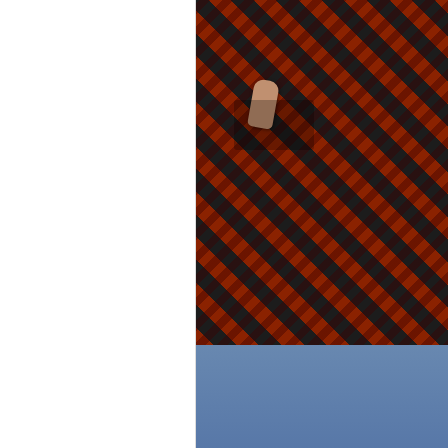[Figure (photo): Person wearing a red and black plaid sherpa/fleece jacket, hands in pocket, wearing jeans. Only torso visible, cropped image on white background.]
BUY HERE
5. Misc. Fun Posts of the Wee
Monday ~ Favorite Things Gi
Wednesday ~ Not for Men Blaz
[Figure (photo): Bottom strip showing four partial images side by side: gold glitter, pink/white bokeh lights, red berries, and green foliage.]